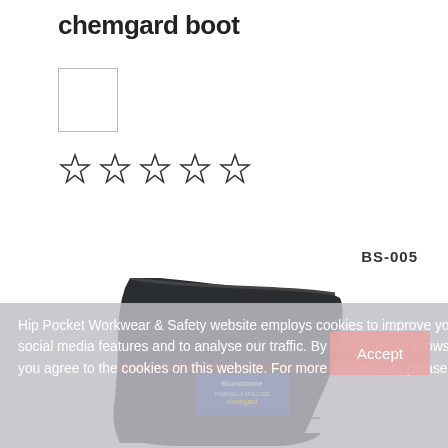chemgard boot
[Figure (photo): Small thumbnail image placeholder (white square with border)]
[Figure (other): Five empty star rating icons]
BS-005
[Figure (photo): Blundstone chemgard boot product photo — tall black rubber/PVC boot with Blundstone logo label and red stripe near the top]
Hip Pocket Workwear & Safety website employs cookies to improve your user experience, for social media features and to analyse our traffic. By continuing to browse or by clicking 'Accept' you agree to the cookies on this website. For more information, please read our Privacy Policy.